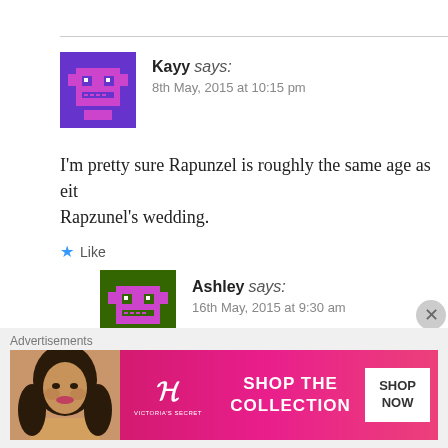Kayy says:
8th May, 2015 at 10:15 pm
I'm pretty sure Rapunzel is roughly the same age as eit... Rapzunel's wedding.
Like
Reply
Ashley says:
16th May, 2015 at 9:30 am
it could be Rapunzel's wedding because in fro... of marriage so Anna is old enough to marry...
Advertisements
[Figure (photo): Victoria's Secret advertisement banner with woman model, VS logo, SHOP THE COLLECTION text, and SHOP NOW button]